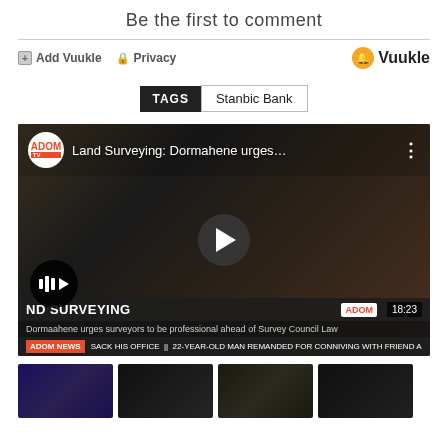Be the first to comment
+ Add Vuukle  🔒 Privacy  🔔Vuukle
TAGS  Stanbic Bank
[Figure (screenshot): YouTube-style video thumbnail showing ADOM TV video titled 'Land Surveying: Dormahene urges...' with a play button. Bottom overlay shows 'ND SURVEYING' headline and ticker 'Dormaahene urges surveyors to be professional ahead of Survey Council Law', ADOM NEWS ticker, timestamp 18:23.]
[Figure (screenshot): Row of four small video thumbnail images at the bottom of the page.]